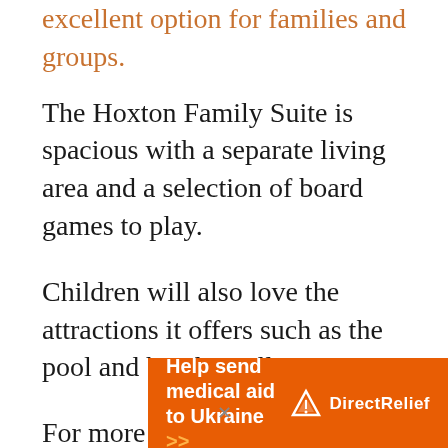…is an excellent option for families and groups.
The Hoxton Family Suite is spacious with a separate living area and a selection of board games to play.
Children will also love the attractions it offers such as the pool and bowling alley.
For more luxury hotels in London, you can also check Westminster, Covent Garden
[Figure (infographic): Orange advertisement banner: 'Help send medical aid to Ukraine >>' with DirectRelief logo on the right side.]